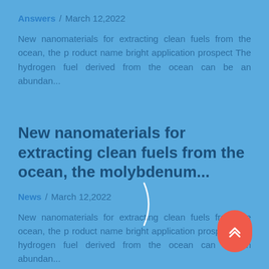Answers / March 12,2022
New nanomaterials for extracting clean fuels from the ocean, the p roduct name bright application prospect The hydrogen fuel derived from the ocean can be an abundan...
New nanomaterials for extracting clean fuels from the ocean, the molybdenum...
News / March 12,2022
New nanomaterials for extracting clean fuels from the ocean, the p roduct name bright application prospect The hydrogen fuel derived from the ocean can be an abundan...
[Figure (other): Scroll-to-top button (red rounded rectangle with double chevron up arrows)]